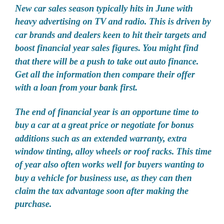New car sales season typically hits in June with heavy advertising on TV and radio. This is driven by car brands and dealers keen to hit their targets and boost financial year sales figures. You might find that there will be a push to take out auto finance. Get all the information then compare their offer with a loan from your bank first.
The end of financial year is an opportune time to buy a car at a great price or negotiate for bonus additions such as an extended warranty, extra window tinting, alloy wheels or roof racks. This time of year also often works well for buyers wanting to buy a vehicle for business use, as they can then claim the tax advantage soon after making the purchase.